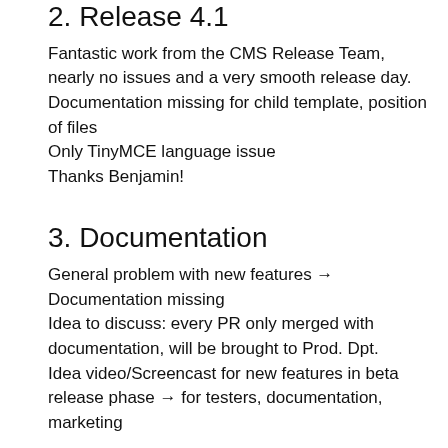2. Release 4.1
Fantastic work from the CMS Release Team, nearly no issues and a very smooth release day.
Documentation missing for child template, position of files
Only TinyMCE language issue
Thanks Benjamin!
3. Documentation
General problem with new features → Documentation missing
Idea to discuss: every PR only merged with documentation, will be brought to Prod. Dpt.
Idea video/Screencast for new features in beta release phase → for testers, documentation, marketing
4. Release 4.2
Going to draft an announcement message